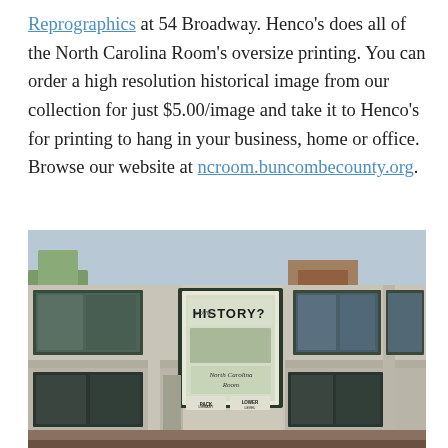Reprographics at 54 Broadway. Henco's does all of the North Carolina Room's oversize printing. You can order a high resolution historical image from our collection for just $5.00/image and take it to Henco's for printing to hang in your business, home or office. Browse our website at ncroom.buncombecounty.org.
[Figure (photo): Exterior photograph of Pack Library showing the building facade with large windows, concrete panels, and a window display sign reading 'HISTORY?' with additional text and 'PACK LIBRARY LOWER LEVEL' signs below.]